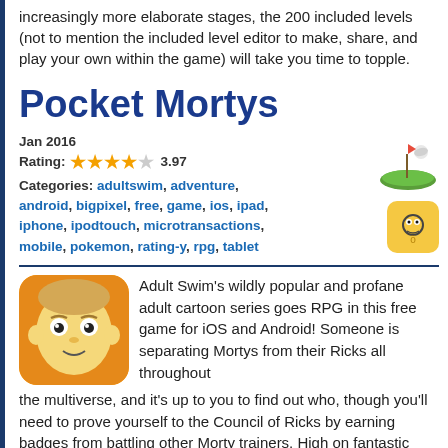increasingly more elaborate stages, the 200 included levels (not to mention the included level editor to make, share, and play your own within the game) will take you time to topple.
Pocket Mortys
Jan 2016
Rating: 3.97
Categories: adultswim, adventure, android, bigpixel, free, game, ios, ipad, iphone, ipodtouch, microtransactions, mobile, pokemon, rating-y, rpg, tablet
Adult Swim's wildly popular and profane adult cartoon series goes RPG in this free game for iOS and Android! Someone is separating Mortys from their Ricks all throughout the multiverse, and it's up to you to find out who, though you'll need to prove yourself to the Council of Ricks by earning badges from battling other Morty trainers. High on fantastic production value but unexpectedly drastically toned down in tone makes Pocket Mortys easily accessible to just about anyone.